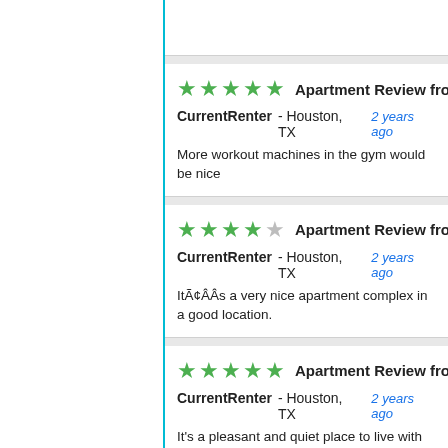★★★★★ Apartment Review from a Current Renter
CurrentRenter - Houston, TX  2 years ago
More workout machines in the gym would be nice
★★★★☆ Apartment Review from a Current Renter
CurrentRenter - Houston, TX  2 years ago
ItÃ¢ÂÂs a very nice apartment complex in a good location.
★★★★★ Apartment Review from a Current Renter
CurrentRenter - Houston, TX  2 years ago
It's a pleasant and quiet place to live with great accessibility t
★☆☆☆☆ Apartment Review from a Current Renter
CurrentRenter - Houston, TX  2 years ago
Management does the bare minimum. After Em so left mana